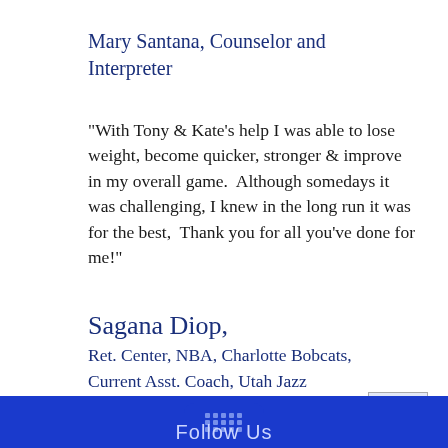Mary Santana, Counselor and Interpreter
"With Tony & Kate's help I was able to lose weight, become quicker, stronger & improve in my overall game.  Although somedays it was challenging, I knew in the long run it was for the best,  Thank you for all you've done for me!"
Sagana Diop,
Ret. Center, NBA, Charlotte Bobcats,
Current Asst. Coach, Utah Jazz
Follow Us